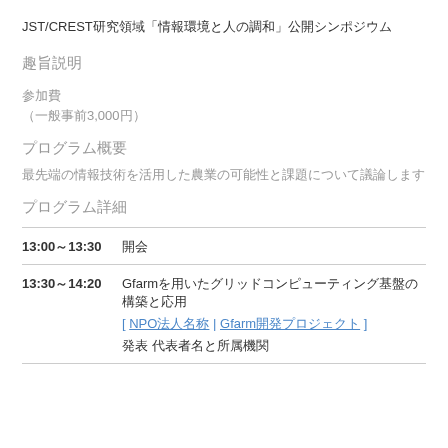JST/CREST研究領域「情報環境と人の調和」公開シンポジウム
趣旨説明
参加費
（一般事前3,000円）
プログラム概要
最先端の情報技術を活用した農業の可能性と課題について議論します
プログラム詳細
13:00～13:30　開会
13:30～14:20　Gfarmを用いたグリッドコンピューティング基盤の構築と応用
[ NPO法人名称 | Gfarm開発プロジェクト ]
発表 代表者名と所属機関